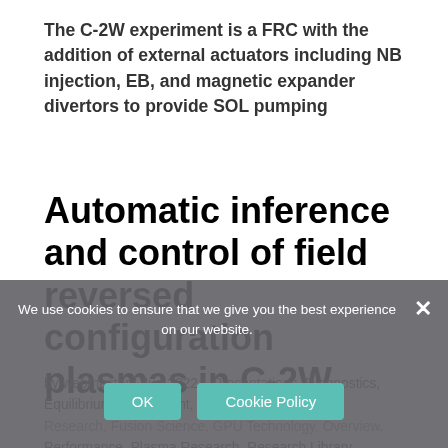The C-2W experiment is a FRC with the addition of external actuators including NB injection, EB, and magnetic expander divertors to provide SOL pumping
Automatic inference and control of field reversed configuration plasmas in C-2W
by webmaster | Jun 2022 | Presentations, Diagnostics, Equilibrium, Experiment, Fusion Energy, Fusion Research, Fusion Science, GPU Technology, Overview, Performance, Plasma Research, Research Library, Stability
We use cookies to ensure that we give you the best experience on our website.